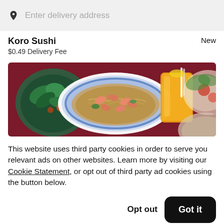Enter delivery address
Koro Sushi
New
$0.49 Delivery Fee
[Figure (photo): Food photo showing Asian dishes: shrimp pad thai on a blue decorative plate in the center, a bowl of food with fresh herbs on the left, a glass of orange juice, and additional dishes on the right, all on a dark red table.]
This website uses third party cookies in order to serve you relevant ads on other websites. Learn more by visiting our Cookie Statement, or opt out of third party ad cookies using the button below.
Opt out
Got it